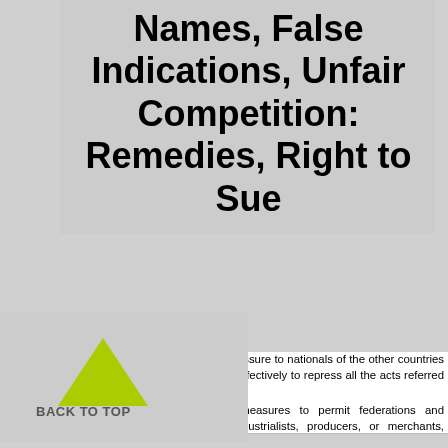Names, False Indications, Unfair Competition: Remedies, Right to Sue
[Figure (other): A green upward-pointing triangle arrow with 'BACK TO TOP' text label below it, overlaid on a gray box background]
(1) The countries of the Union undertake to assure to nationals of the other countries of the Union appropriate legal remedies effectively to repress all the acts referred to in Article s 9, 10, and 10bis.
(2) They undertake, further, to provide measures to permit federations and associations representing interested industrialists, producers, or merchants, provided that the existence of such federations and associations is not contrary to the laws of their countries, to take action in the courts or before the administrative authorities, with a view to the repression of the acts referred to in Article s 9, 10, and 10bis, in so far as the law of the country in which protection is claimed allows such action by federations and associations of that country.